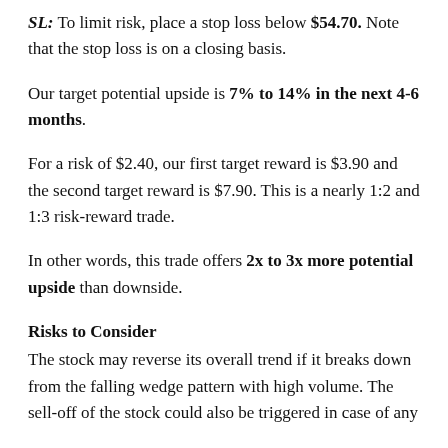SL: To limit risk, place a stop loss below $54.70. Note that the stop loss is on a closing basis.
Our target potential upside is 7% to 14% in the next 4-6 months.
For a risk of $2.40, our first target reward is $3.90 and the second target reward is $7.90. This is a nearly 1:2 and 1:3 risk-reward trade.
In other words, this trade offers 2x to 3x more potential upside than downside.
Risks to Consider
The stock may reverse its overall trend if it breaks down from the falling wedge pattern with high volume. The sell-off of the stock could also be triggered in case of any